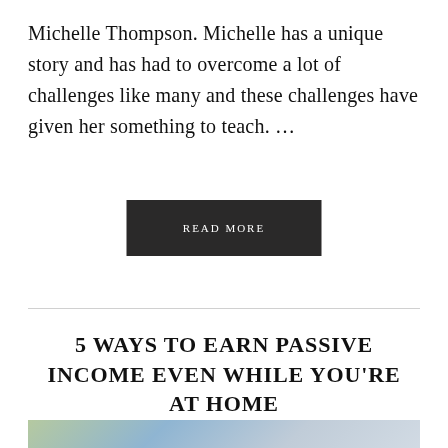Michelle Thompson. Michelle has a unique story and has had to overcome a lot of challenges like many and these challenges have given her something to teach. ...
READ MORE
5 WAYS TO EARN PASSIVE INCOME EVEN WHILE YOU'RE AT HOME
[Figure (photo): Partial view of a blog post image showing text '5 Ways To Earn' overlaid on a photo with a plant and keyboard visible]